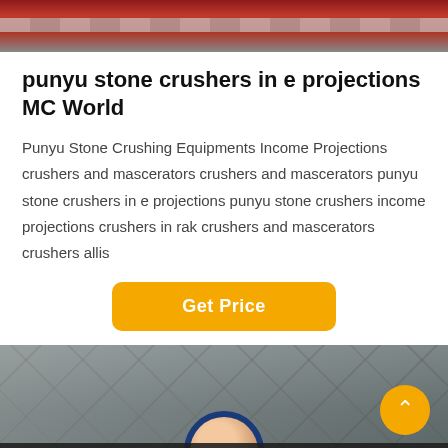[Figure (photo): Top portion of image showing industrial machinery with red and grey striped elements]
punyu stone crushers in e projections MC World
Punyu Stone Crushing Equipments Income Projections crushers and mascerators crushers and mascerators punyu stone crushers in e projections punyu stone crushers income projections crushers in rak crushers and mascerators crushers allis
[Figure (other): Get Price button - orange rounded rectangle button]
[Figure (photo): Industrial steel structure / construction building interior photo with dark footer bar showing Leave Message and Chat Online with customer service avatar]
Leave Message   Chat Online